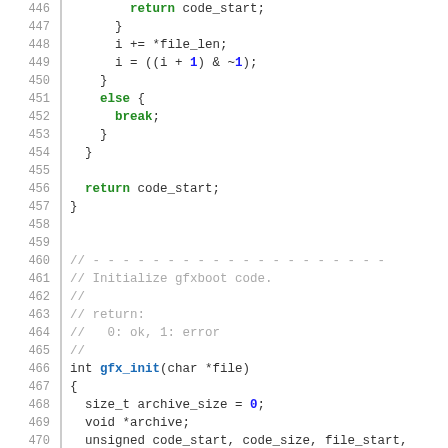Source code listing, lines 446-472, showing C code for gfx_init function